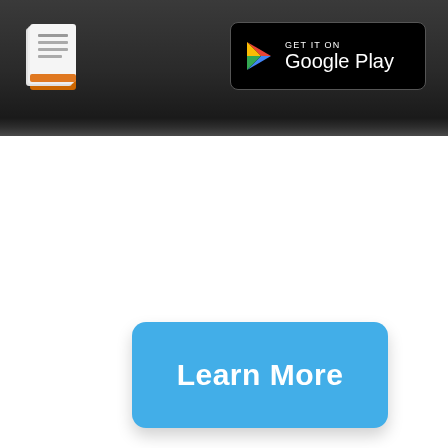[Figure (screenshot): Dark header bar with document app icon on the left and Google Play badge on the right]
[Figure (screenshot): Blue rounded 'Learn More' button centered in white content area]
[Figure (screenshot): Horizontal orange/tan divider line]
[Figure (screenshot): Cream-colored box at the bottom of the page]